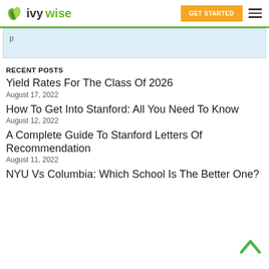IvyWise — GET STARTED
p
RECENT POSTS
Yield Rates For The Class Of 2026
August 17, 2022
How To Get Into Stanford: All You Need To Know
August 12, 2022
A Complete Guide To Stanford Letters Of Recommendation
August 11, 2022
NYU Vs Columbia: Which School Is The Better One?